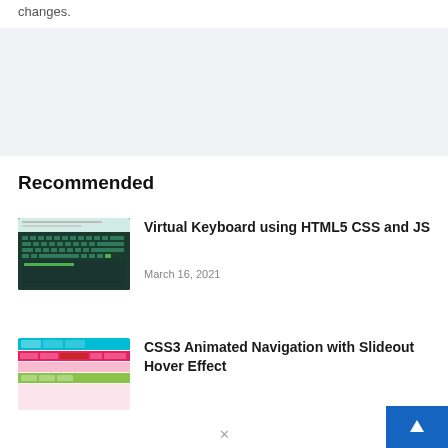changes.
[Figure (other): Advertisement or banner placeholder with light gray background]
Recommended
[Figure (screenshot): Thumbnail of Virtual Keyboard using HTML5 CSS and JS article showing a dark green keyboard UI]
Virtual Keyboard using HTML5 CSS and JS
March 16, 2021
[Figure (screenshot): Thumbnail of CSS3 Animated Navigation with Slideout Hover Effect article showing colorful navigation bars]
CSS3 Animated Navigation with Slideout Hover Effect